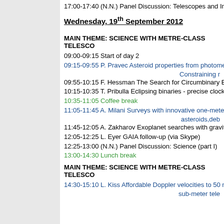17:00-17:40 (N.N.) Panel Discussion: Telescopes and Instr...
Wednesday, 19th September 2012
MAIN THEME: SCIENCE WITH METRE-CLASS TELESCO...
09:00-09:15 Start of day 2
09:15-09:55 P. Pravec Asteroid properties from photometric...
Constraining r...
09:55-10:15 F. Hessman The Search for Circumbinary Exop...
10:15-10:35 T. Pribulla Eclipsing binaries - precise clocks to...
10:35-11:05 Coffee break
11:05-11:45 A. Milani Surveys with innovative one-meter tel...
asteroids,deb...
11:45-12:05 A. Zakharov Exoplanet searches with gravitatio...
12:05-12:25 L. Eyer GAIA follow-up (via Skype)
12:25-13:00 (N.N.) Panel Discussion: Science (part I)
13:00-14:30 Lunch break
MAIN THEME: SCIENCE WITH METRE-CLASS TELESCO...
14:30-15:10 L. Kiss Affordable Doppler velocities to 50 m/s...
sub-meter tele...